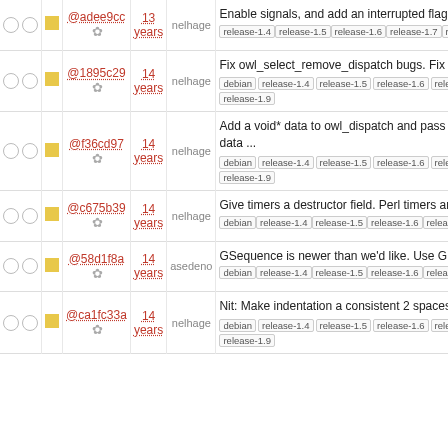|  |  | hash | gear | age | author | message |
| --- | --- | --- | --- | --- | --- | --- |
| ○○ | ■ | @adee9cc | ⚙ | 13 years | nelhage | Enable signals, and add an interrupted flag. release-1.4 release-1.5 release-1.6 release-1.7 release-1.8 release-1.9 |
| ○○ | ■ | @1895c29 | ⚙ | 14 years | nelhage | Fix owl_select_remove_dispatch bugs. Fix two bugs in ... debian release-1.4 release-1.5 release-1.6 release-1.7 release-1.8 release-1.9 |
| ○○ | ■ | @f36cd97 | ⚙ | 14 years | nelhage | Add a void* data to owl_dispatch and pass it around. Add a void* data ... debian release-1.4 release-1.5 release-1.6 release-1.7 release-1.8 release-1.9 |
| ○○ | ■ | @c675b39 | ⚙ | 14 years | nelhage | Give timers a destructor field. Perl timers are going to need this in ... debian release-1.4 release-1.5 release-1.6 release-1.7 release-1.8 release-1.9 |
| ○○ | ■ | @58d1f8a | ⚙ | 14 years | asedeno | GSequence is newer than we'd like. Use GList for timers instead. debian release-1.4 release-1.5 release-1.6 release-1.7 release-1.8 release-1.9 |
| ○○ | ■ | @ca1fc33a | ⚙ | 14 years | nelhage | Nit: Make indentation a consistent 2 spaces debian release-1.4 release-1.5 release-1.6 release-1.7 release-1.8 release-1.9 |